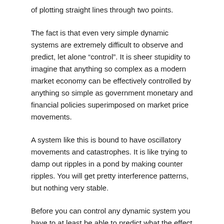of plotting straight lines through two points.
The fact is that even very simple dynamic systems are extremely difficult to observe and predict, let alone “control”. It is sheer stupidity to imagine that anything so complex as a modern market economy can be effectively controlled by anything so simple as government monetary and financial policies superimposed on market price movements.
A system like this is bound to have oscillatory movements and catastrophes. It is like trying to damp out ripples in a pond by making counter ripples. You will get pretty interference patterns, but nothing very stable.
Before you can control any dynamic system you have to at least be able to predict what the effect of any changes you make will be. If anyone knew how to predict that, for the world market, they would not be wasting their time giving economic advice to governments. Literally billions of dollars could be made by speculation on the commodity and financial futures markets. If you can’t do that, you can’t